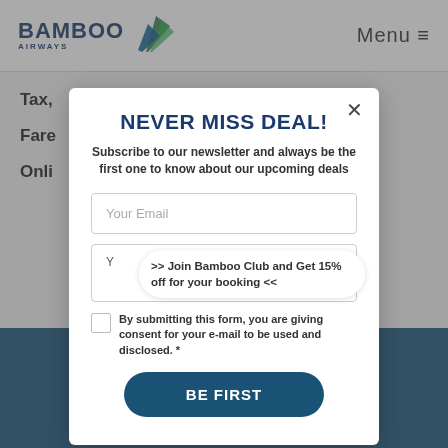[Figure (logo): Bamboo Airways logo with stylized green/teal wing icon and dark blue text]
Menu ≡
Tax,
Fare
Onli
NEVER MISS DEAL!
Subscribe to our newsletter and always be the first one to know about our upcoming deals
Your Email
>> Join Bamboo Club and Get 15% off for your booking <<
By submitting this form, you are giving consent for your e-mail to be used and disclosed. *
BE FIRST
[Figure (illustration): Social media icons: Facebook, Instagram, YouTube, Twitter in circular buttons]